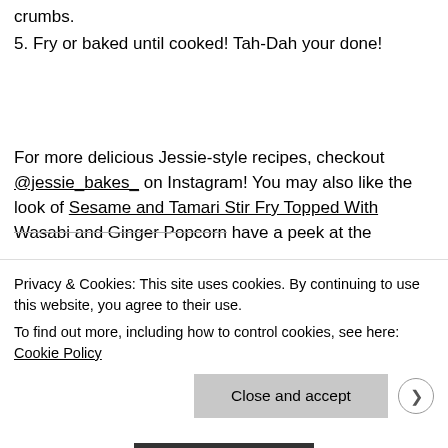crumbs.
5. Fry or baked until cooked! Tah-Dah your done!
For more delicious Jessie-style recipes, checkout @jessie_bakes_ on Instagram! You may also like the look of Sesame and Tamari Stir Fry Topped With Wasabi and Ginger Popcorn have a peek at the
Privacy & Cookies: This site uses cookies. By continuing to use this website, you agree to their use.
To find out more, including how to control cookies, see here: Cookie Policy
Close and accept